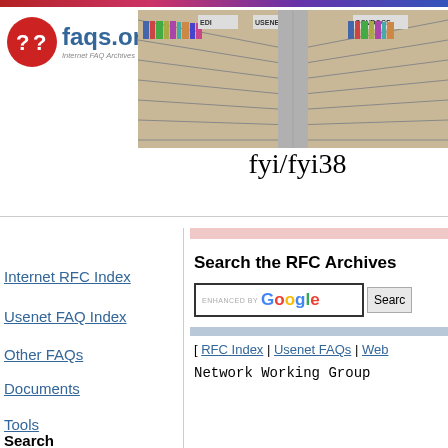[Figure (logo): faqs.org logo with red circle containing question marks and blue text 'faqs.org' with subtitle 'Internet FAQ Archives']
[Figure (photo): Library bookshelf image showing rows of books with category labels EDI, USENET, GOVDOCS, FYI visible on shelf dividers]
fyi/fyi38
Internet RFC Index
Usenet FAQ Index
Other FAQs
Documents
Tools
Search
Search the RFC Archives
[ RFC Index | Usenet FAQs | Web
Network Working Group